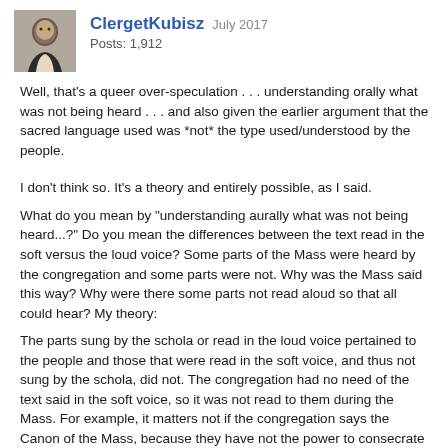ClergetKubisz  July 2017
Posts: 1,912
Well, that's a queer over-speculation . . . understanding orally what was not being heard . . . and also given the earlier argument that the sacred language used was *not* the type used/understood by the people.
I don't think so. It's a theory and entirely possible, as I said.
What do you mean by "understanding aurally what was not being heard...?" Do you mean the differences between the text read in the soft versus the loud voice? Some parts of the Mass were heard by the congregation and some parts were not. Why was the Mass said this way? Why were there some parts not read aloud so that all could hear? My theory:
The parts sung by the schola or read in the loud voice pertained to the people and those that were read in the soft voice, and thus not sung by the schola, did not. The congregation had no need of the text said in the soft voice, so it was not read to them during the Mass. For example, it matters not if the congregation says the Canon of the Mass, because they have not the power to consecrate the Eucharist. However, the priest does,